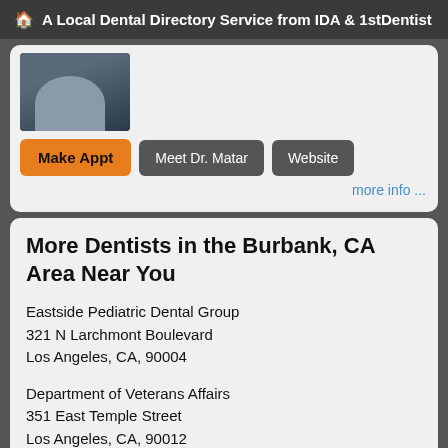A Local Dental Directory Service from IDA & 1stDentist
[Figure (photo): Doctor photo thumbnail showing a person in professional attire]
Make Appt   Meet Dr. Matar   Website
more info ...
More Dentists in the Burbank, CA Area Near You
Eastside Pediatric Dental Group
321 N Larchmont Boulevard
Los Angeles, CA, 90004
Department of Veterans Affairs
351 East Temple Street
Los Angeles, CA, 90012
Do...